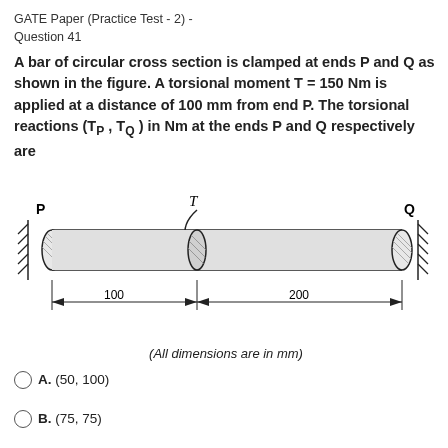GATE Paper (Practice Test - 2) -
Question 41
A bar of circular cross section is clamped at ends P and Q as shown in the figure. A torsional moment T = 150 Nm is applied at a distance of 100 mm from end P. The torsional reactions (T_P, T_Q) in Nm at the ends P and Q respectively are
[Figure (engineering-diagram): A cylindrical bar clamped at end P (left) and end Q (right). A torsional moment T is applied at a point 100 mm from P and 200 mm from Q. Dimension arrows show 100 mm and 200 mm. Labels P, Q, T are shown.]
(All dimensions are in mm)
A. (50, 100)
B. (75, 75)